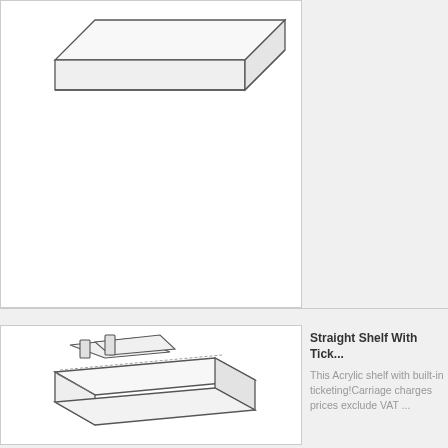[Figure (illustration): Product illustration of a straight acrylic shelf (top portion, cropped) shown in isometric/perspective line drawing style against white background with light grey border]
[Figure (illustration): Product illustration of a Straight Shelf With Ticket Strip - acrylic shelf with built-in ticketing slots shown in isometric/perspective line drawing style]
Straight Shelf With Tick...
This Acrylic shelf with built-in ticketing!Carriage charges prices exclude VAT ...